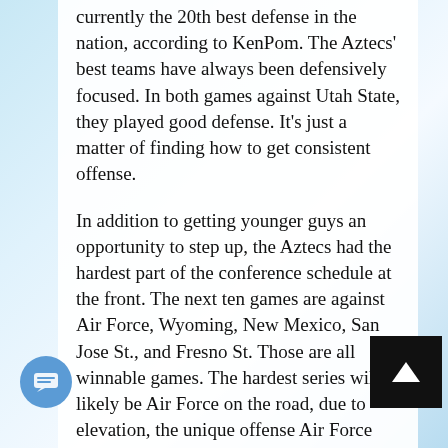currently the 20th best defense in the nation, according to KenPom. The Aztecs' best teams have always been defensively focused. In both games against Utah State, they played good defense. It's just a matter of finding how to get consistent offense.
In addition to getting younger guys an opportunity to step up, the Aztecs had the hardest part of the conference schedule at the front. The next ten games are against Air Force, Wyoming, New Mexico, San Jose St., and Fresno St. Those are all winnable games. The hardest series will likely be Air Force on the road, due to elevation, the unique offense Air Force likes to run, and Matt Mitchell's absence. A mostly bench unit almost beat Utah though, so two wins against Air Force is definitely doable. The Aztecs can use this stretch to get